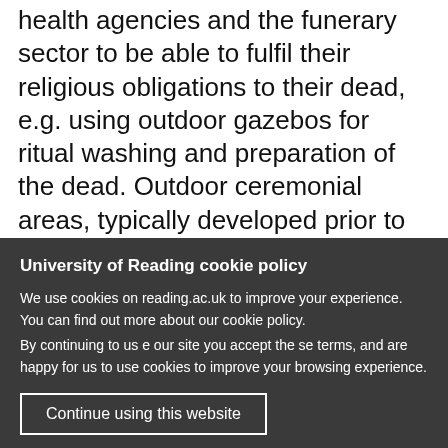health agencies and the funerary sector to be able to fulfil their religious obligations to their dead, e.g. using outdoor gazebos for ritual washing and preparation of the dead. Outdoor ceremonial areas, typically developed prior to the pandemic for Muslim rites, were more widely used and replicated, initially in temporary formats (see improvised
University of Reading cookie policy
We use cookies on reading.ac.uk to improve your experience. You can find out more about our cookie policy.
By continuing to use our site you accept these terms, and are happy for us to use cookies to improve your browsing experience.
Continue using this website